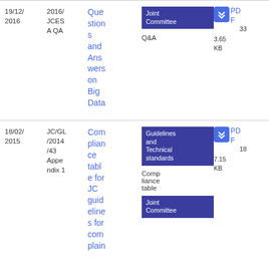| Date | Reference | Title | Tags | Type | Download |
| --- | --- | --- | --- | --- | --- |
| 19/12/2016 | 2016/JCESA QA | Questions and Answers on Big Data | Joint Committee | Q&A | PDF | 33
3.65 KB |
| 18/02/2015 | JC/GL/2014/43 Appendix 1 | Compliance table for JC guidelines for complain… | Guidelines and Technical standards | Compliance table | Joint Committee | PDF | 18
7.15 KB |